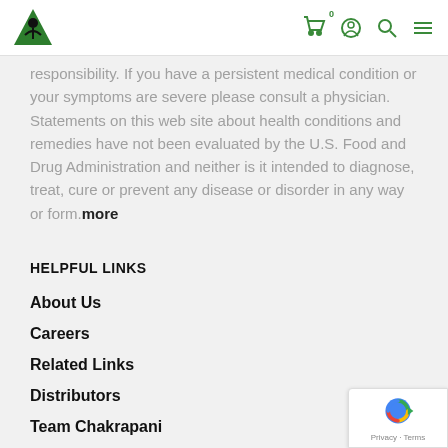Logo | Cart 0 | Account | Search | Menu
responsibility. If you have a persistent medical condition or your symptoms are severe please consult a physician. Statements on this web site about health conditions and remedies have not been evaluated by the U.S. Food and Drug Administration and neither is it intended to diagnose, treat, cure or prevent any disease or disorder in any way or form. more
HELPFUL LINKS
About Us
Careers
Related Links
Distributors
Team Chakrapani